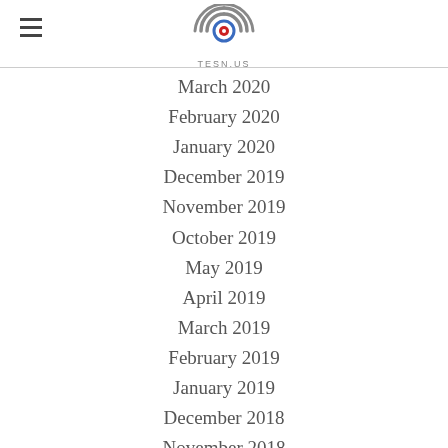TESN.US
March 2020
February 2020
January 2020
December 2019
November 2019
October 2019
May 2019
April 2019
March 2019
February 2019
January 2019
December 2018
November 2018
October 2018
May 2018
April 2018
March 2018
February 2018